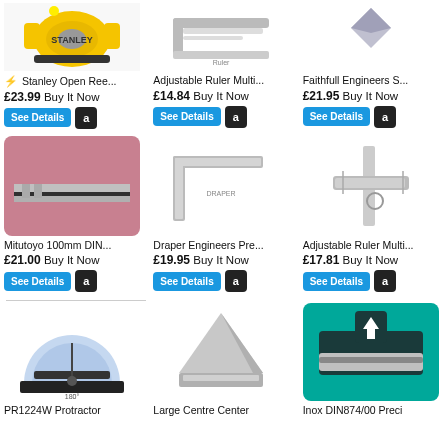[Figure (photo): Stanley Open Reel measuring tape product image, yellow and black]
⚡ Stanley Open Ree... £23.99 Buy It Now
[Figure (photo): Adjustable Ruler Multi product image]
Adjustable Ruler Multi... £14.84 Buy It Now
[Figure (photo): Faithfull Engineers Square product image]
Faithfull Engineers S... £21.95 Buy It Now
[Figure (photo): Mitutoyo 100mm DIN precision tool on pink background]
Mitutoyo 100mm DIN... £21.00 Buy It Now
[Figure (photo): Draper Engineers Precision square tool]
Draper Engineers Pre... £19.95 Buy It Now
[Figure (photo): Adjustable Ruler Multi combination square tool]
Adjustable Ruler Multi... £17.81 Buy It Now
[Figure (photo): PR1224W Protractor measuring tool]
PR1224W Protractor
[Figure (photo): Large Centre Center tool, stainless steel]
Large Centre Center
[Figure (photo): Inox DIN874/00 Precision tool on teal background]
Inox DIN874/00 Preci